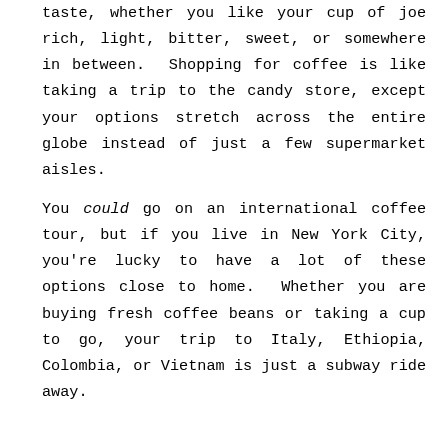taste, whether you like your cup of joe rich, light, bitter, sweet, or somewhere in between. Shopping for coffee is like taking a trip to the candy store, except your options stretch across the entire globe instead of just a few supermarket aisles.
You could go on an international coffee tour, but if you live in New York City, you're lucky to have a lot of these options close to home. Whether you are buying fresh coffee beans or taking a cup to go, your trip to Italy, Ethiopia, Colombia, or Vietnam is just a subway ride away.